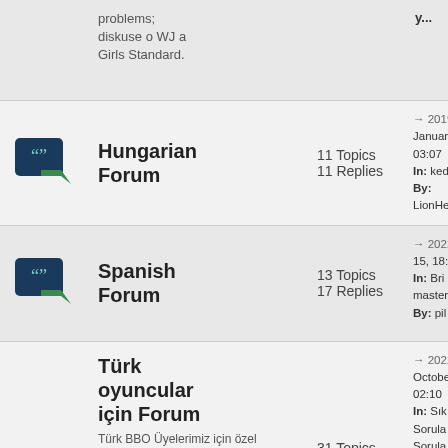| Icon | Forum Name | Stats | Last Post |
| --- | --- | --- | --- |
| [icon] | problems; diskuse o WJ a Girls Standard. |  | y... |
| [icon] | Hungarian Forum | 11 Topics
11 Replies | → 2019 January 03:07
In: ked
By: LionHe |
| [icon] | Spanish Forum | 13 Topics
17 Replies | → 2022 15, 18:
In: Bri master
By: pil |
| [icon] | Türk oyuncular için Forum
Türk BBO Üyelerimiz için özel forum sayfamiz hizmete girdi. Briç konvansiyonlari, makaleleri ve görüplerinizi medeni ölçülerde | 31 Topics
76 Replies | → 2022 October 02:10
In: Sık Sorula Sorula
By: MeteG |